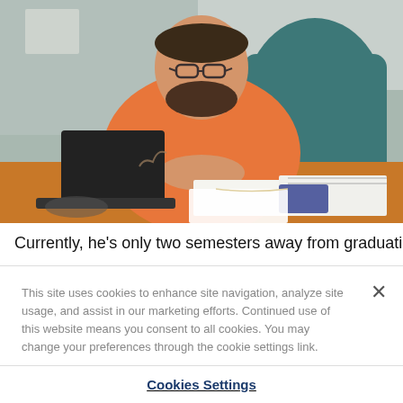[Figure (photo): A man with glasses and a beard wearing an orange polo shirt sits at a wooden desk in an office, smiling with hands clasped. A laptop, calculator, notebooks, and papers are on the desk. He sits in a teal office chair.]
Currently, he's only two semesters away from graduation and a
This site uses cookies to enhance site navigation, analyze site usage, and assist in our marketing efforts. Continued use of this website means you consent to all cookies. You may change your preferences through the cookie settings link.
Cookies Settings